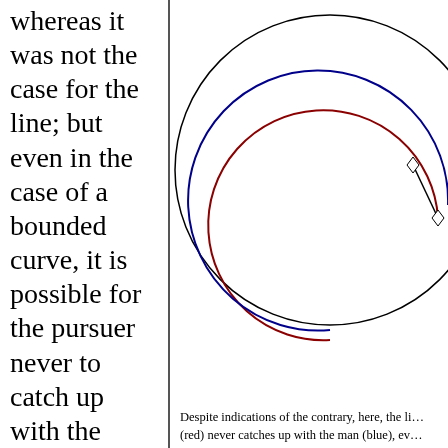whereas it was not the case for the line; but even in the case of a bounded curve, it is possible for the pursuer never to catch up with the pursuee (and so, with the presentation
[Figure (continuous-plot): A circular pursuit curve diagram showing three curves: a large black outer circle (the path), a blue arc (the man/pursuee path), a red arc (the pursuer path), and a black straight line segment with small diamond markers at each end indicating the distance between pursuer and pursuee. The pursuer (red) spirals inward, never catching the man (blue) along the circular path.]
Despite indications of the contrary, here, the li... (red) never catches up with the man (blue), ev...